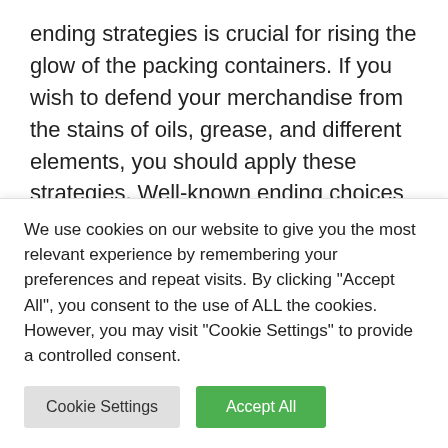ending strategies is crucial for rising the glow of the packing containers. If you wish to defend your merchandise from the stains of oils, grease, and different elements, you should apply these strategies. Well-known ending choices embody smudge-free, spot UV, gloss, and matte. Spot UV even makes the packaging proof against the assault of moisture. The lamination layer will likely be clear, and it'll not be seen to the bare eye. Mud particles won't be able to spoil the
We use cookies on our website to give you the most relevant experience by remembering your preferences and repeat visits. By clicking "Accept All", you consent to the use of ALL the cookies. However, you may visit "Cookie Settings" to provide a controlled consent.